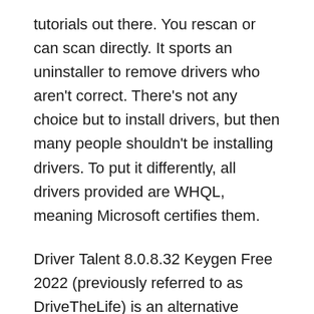tutorials out there. You rescan or can scan directly. It sports an uninstaller to remove drivers who aren't correct. There's not any choice but to install drivers, but then many people shouldn't be installing drivers. To put it differently, all drivers provided are WHQL, meaning Microsoft certifies them.
Driver Talent 8.0.8.32 Keygen Free 2022 (previously referred to as DriveTheLife) is an alternative driver application that helps to discover corrupted or missing drivers from Windows PC and also to fix them. Also, it can help to upgrade the drivers by locating the ones. Driver Talent delivers a means to identify and install some of the drivers without worrying about compatibility. Users do not wish to install and download the drivers one by one. It provides a driver...